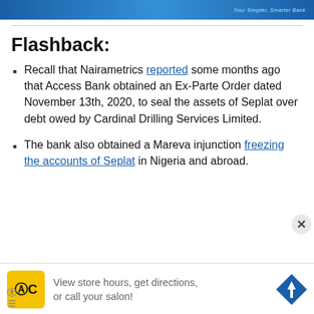Your Simpler, Smarter Bank
Flashback:
Recall that Nairametrics reported some months ago that Access Bank obtained an Ex-Parte Order dated November 13th, 2020, to seal the assets of Seplat over debt owed by Cardinal Drilling Services Limited.
The bank also obtained a Mareva injunction freezing the accounts of Seplat in Nigeria and abroad.
[Figure (other): Advertisement banner with HC logo, navigation icon, and text 'View store hours, get directions, or call your salon!']